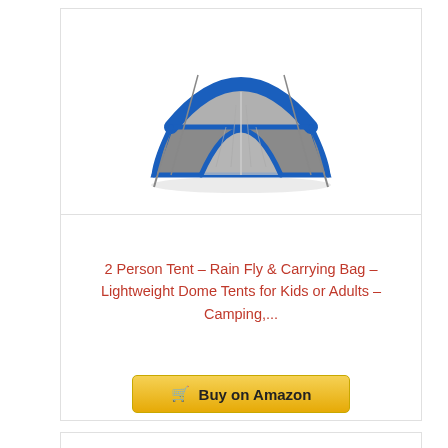[Figure (photo): Blue and gray dome camping tent with mesh door panels and support poles, viewed from a 3/4 front angle on a white background.]
2 Person Tent – Rain Fly & Carrying Bag – Lightweight Dome Tents for Kids or Adults – Camping,...
Price: $20.95 ✓Prime
Buy on Amazon
Bestseller No. 3